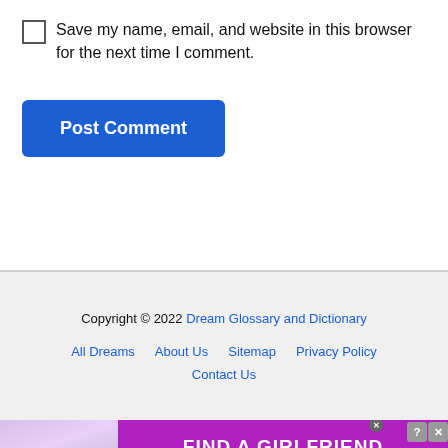Save my name, email, and website in this browser for the next time I comment.
Post Comment
Copyright © 2022 Dream Glossary and Dictionary
All Dreams  About Us  Sitemap  Privacy Policy  Contact Us
[Figure (infographic): Advertisement banner: FIND A GIRLFRIEND - clover dating app]